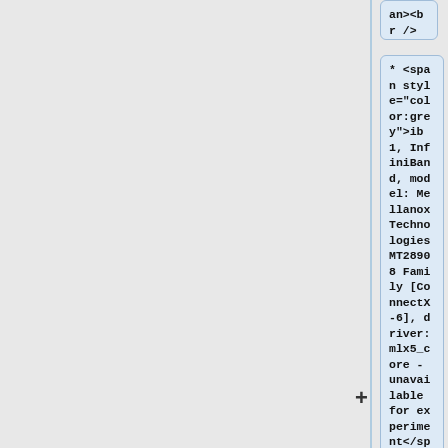an><br />
* <span style="color:grey">ib1, InfiniBand, model: Mellanox Technologies MT28908 Family [ConnectX-6], driver: mlx5_core - unavailable for experiment</span><br />
* <span style="color:grey">ib2, InfiniBand, model: Mellanox Technologies